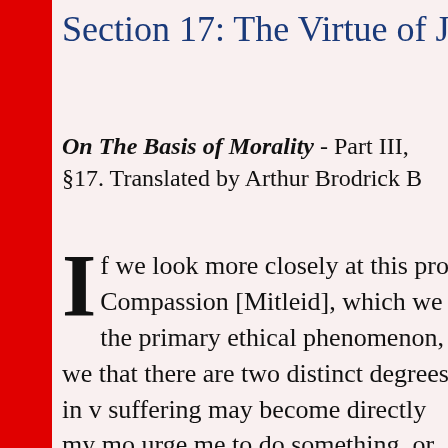Section 17: The Virtue of Ju
On The Basis of Morality - Part III, §17. Translated by Arthur Brodrick B
If we look more closely at this pro Compassion [Mitleid], which we the primary ethical phenomenon, we that there are two distinct degrees in suffering may become directly my mo urge me to do something, or to leave seen when, by counteracting egoistic